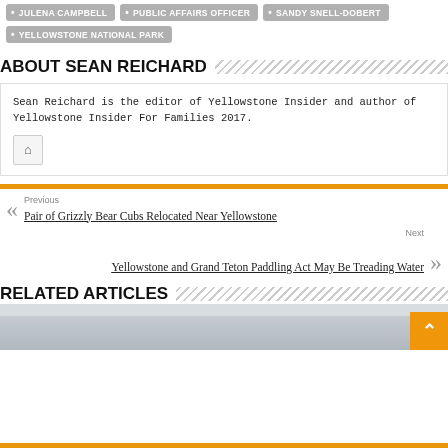JULENA CAMPBELL
PUBLIC AFFAIRS OFFICER
SANDY SNELL-DOBERT
YELLOWSTONE NATIONAL PARK
ABOUT SEAN REICHARD
Sean Reichard is the editor of Yellowstone Insider and author of Yellowstone Insider For Families 2017.
Previous
Pair of Grizzly Bear Cubs Relocated Near Yellowstone
Next
Yellowstone and Grand Teton Paddling Act May Be Treading Water
RELATED ARTICLES
[Figure (photo): Partial view of a related article image, appears to be an outdoor/nature scene]